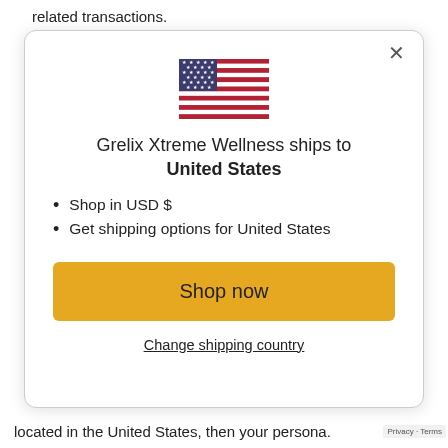related transactions.
[Figure (screenshot): Modal dialog showing US flag, shipping information for Grelix Xtreme Wellness to United States, with Shop now button and Change shipping country link]
located in the United States, then your persona.